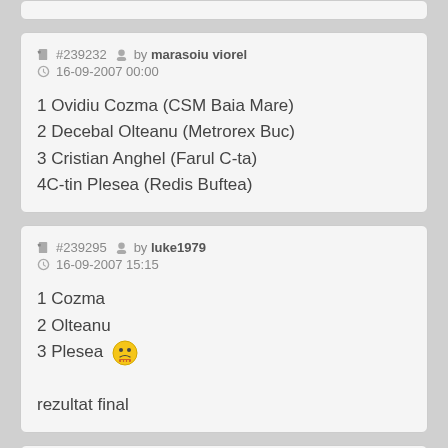#239232 by marasoiu viorel
16-09-2007 00:00

1 Ovidiu Cozma (CSM Baia Mare)
2 Decebal Olteanu (Metrorex Buc)
3 Cristian Anghel (Farul C-ta)
4C-tin Plesea (Redis Buftea)
#239295 by luke1979
16-09-2007 15:15

1 Cozma
2 Olteanu
3 Plesea

rezultat final